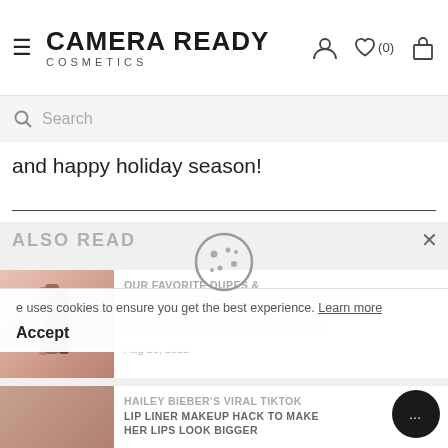CAMERA READY COSMETICS
Search
and happy holiday season!
ALSO READ
uses cookies to ensure you get the best experience. Learn more
Accept
OUR FAVORITE DUPES & uses cookies to ensure you get the VIRAL TIKTOK FALL LIP LOOK WITH SCOTT BARNES LIP LINER IN NAOMI
Aug 26, 2022
HAILEY BIEBER'S VIRAL TIKTOK LIP LINER MAKEUP HACK TO MAKE HER LIPS LOOK BIGGER